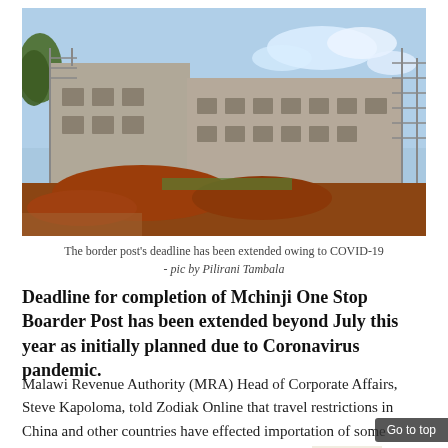[Figure (photo): Construction site of Mchinji One Stop Border Post building under a blue sky, with scaffolding, concrete walls partially built, and red soil mounds in the foreground.]
The border post's deadline has been extended owing to COVID-19
- pic by Pilirani Tambala
Deadline for completion of Mchinji One Stop Boarder Post has been extended beyond July this year as initially planned due to Coronavirus pandemic.
Malawi Revenue Authority (MRA) Head of Corporate Affairs, Steve Kapoloma, told Zodiak Online that travel restrictions in China and other countries have effected importation of some construction materials for the project to be finalized on time.